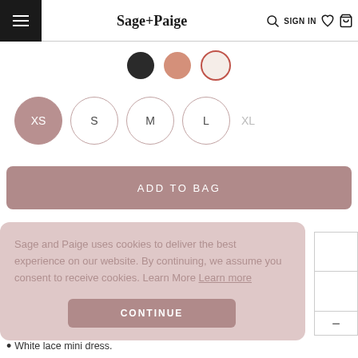Sage+Paige — SIGN IN
[Figure (screenshot): Color swatches: black circle, rose/terracotta circle, cream circle with red border]
[Figure (screenshot): Size selector circles: XS (selected/filled pink), S, M, L (outlined), XL (greyed out text)]
ADD TO BAG
Sage and Paige uses cookies to deliver the best experience on our website. By continuing, we assume you consent to receive cookies. Learn More Learn more
CONTINUE
White lace mini dress.